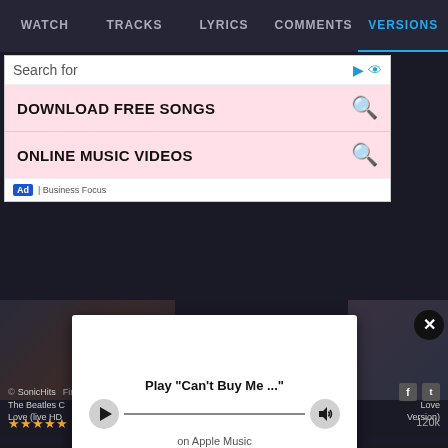WATCH  TRACKS  LYRICS  COMMENTS  VERSIONS
[Figure (screenshot): Advertisement overlay with search bar showing 'Search for', two pink rows: 'DOWNLOAD FREE SONGS' and 'ONLINE MUSIC VIDEOS' with pink search icons, Ad badge and 'Business Focus' label]
[Figure (screenshot): Music player modal with play button circle, progress line, speaker icon, showing Play "Can't Buy Me ..." on Apple Music]
[Figure (screenshot): Close button (X) circle in top right of player modal]
The Beatles Can't Buy Me Love (live HD
Love (Version)
★★★★★
120k
© SonicHits  Find Lyrics | About | Privacy